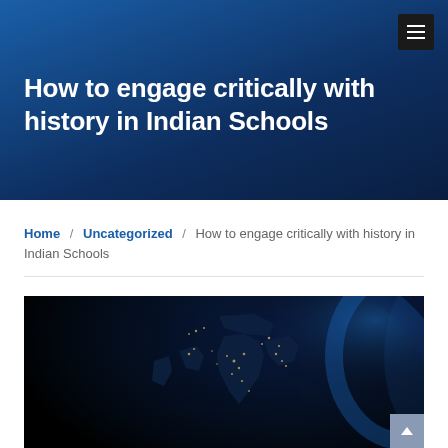How to engage critically with history in Indian Schools
Home / Uncategorized / How to engage critically with history in Indian Schools
[Figure (photo): Satellite night view photograph of Earth from space, showing Asia and the Indian subcontinent with city lights visible, dark space background with blue atmospheric glow on the right edge.]